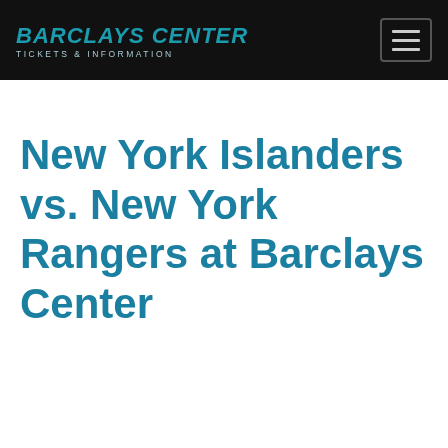BARCLAYS CENTER TICKETS & INFORMATION
New York Islanders vs. New York Rangers at Barclays Center